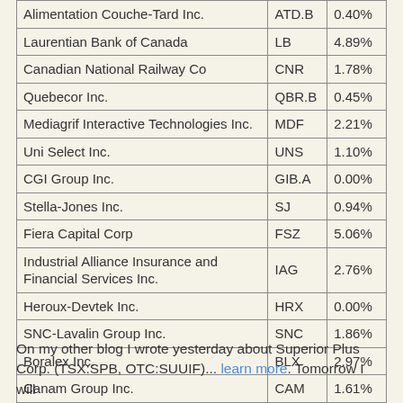| Company | Ticker | Yield |
| --- | --- | --- |
| Alimentation Couche-Tard Inc. | ATD.B | 0.40% |
| Laurentian Bank of Canada | LB | 4.89% |
| Canadian National Railway Co | CNR | 1.78% |
| Quebecor Inc. | QBR.B | 0.45% |
| Mediagrif Interactive Technologies Inc. | MDF | 2.21% |
| Uni Select Inc. | UNS | 1.10% |
| CGI Group Inc. | GIB.A | 0.00% |
| Stella-Jones Inc. | SJ | 0.94% |
| Fiera Capital Corp | FSZ | 5.06% |
| Industrial Alliance Insurance and Financial Services Inc. | IAG | 2.76% |
| Heroux-Devtek Inc. | HRX | 0.00% |
| SNC-Lavalin Group Inc. | SNC | 1.86% |
| Boralex Inc. | BLX | 2.97% |
| Canam Group Inc. | CAM | 1.61% |
On my other blog I wrote yesterday about Superior Plus Corp. (TSX:SPB, OTC:SUUIF)... learn more. Tomorrow I will